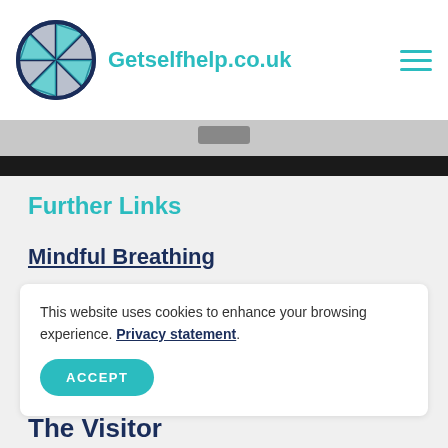Getselfhelp.co.uk
[Figure (screenshot): Partial screenshot of a webpage with a gray image strip and black bar]
Further Links
Mindful Breathing
This website uses cookies to enhance your browsing experience. Privacy statement.
ACCEPT
The Visitor